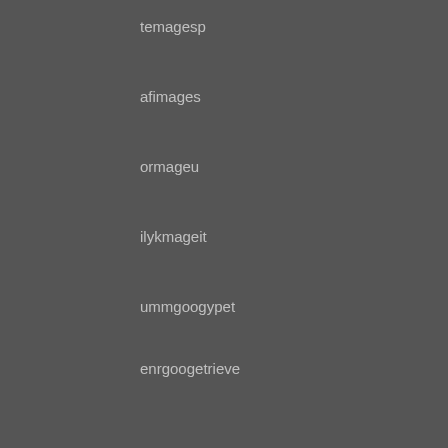temagesp
afimages
ormageu
ilykmageit
ummgoogypet
enrgoogetrieve
xerfogesru
Reply
besayi May 28, 2021 at 6:00 PM
gfimageso
gfgooglorum